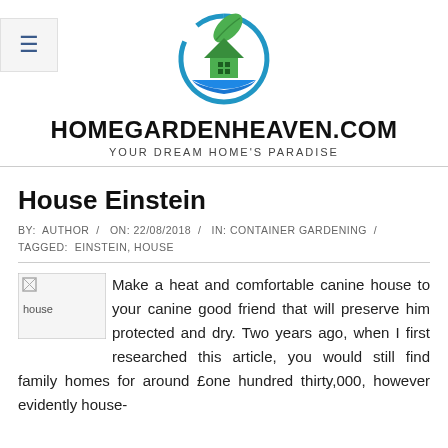[Figure (logo): HomeGardenHeaven.com logo: a circular icon with a green house/leaf and blue hands, above the site name and tagline]
HOMEGARDENHEAVEN.COM
YOUR DREAM HOME'S PARADISE
House Einstein
BY: AUTHOR / ON: 22/08/2018 / IN: CONTAINER GARDENING / TAGGED: EINSTEIN, HOUSE
[Figure (photo): Broken image placeholder labeled 'house']
Make a heat and comfortable canine house to your canine good friend that will preserve him protected and dry. Two years ago, when I first researched this article, you would still find family homes for around £one hundred thirty,000, however evidently house-